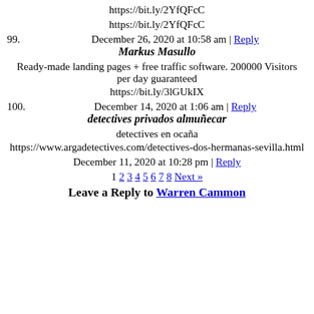https://bit.ly/2YfQFcC
https://bit.ly/2YfQFcC
99. December 26, 2020 at 10:58 am | Reply
Markus Masullo
Ready-made landing pages + free traffic software. 200000 Visitors per day guaranteed
https://bit.ly/3lGUkIX
100. December 14, 2020 at 1:06 am | Reply
detectives privados almuñecar
detectives en ocaña
https://www.argadetectives.com/detectives-dos-hermanas-sevilla.html
December 11, 2020 at 10:28 pm | Reply
1 2 3 4 5 6 7 8 Next »
Leave a Reply to Warren Cammon